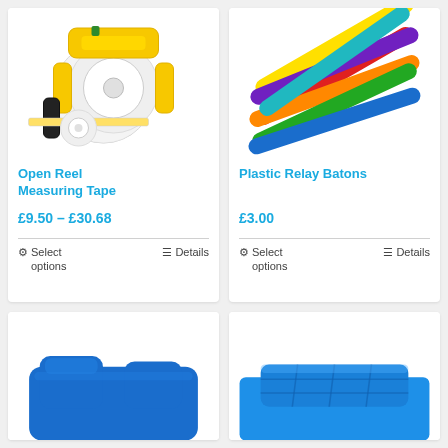[Figure (photo): Open reel measuring tape - yellow tool on white background]
Open Reel Measuring Tape
£9.50 – £30.68
Select options
Details
[Figure (photo): Plastic relay batons - colorful sticks on white background]
Plastic Relay Batons
£3.00
Select options
Details
[Figure (photo): Blue sports equipment - partially visible at bottom]
[Figure (photo): Blue sports equipment - partially visible at bottom right]